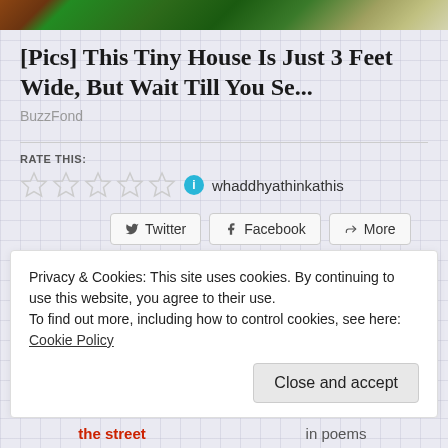[Figure (photo): Top strip of a photo showing green grass and garden/landscaping, partially cropped]
[Pics] This Tiny House Is Just 3 Feet Wide, But Wait Till You Se...
BuzzFond
Rate this:
[Figure (other): Five empty/unfilled star rating icons followed by an info icon and the username 'whaddhyathinkathis']
Share this:
Twitter  Facebook  More
Loading...
Privacy & Cookies: This site uses cookies. By continuing to use this website, you agree to their use.
To find out more, including how to control cookies, see here: Cookie Policy
Close and accept
the street    in poems